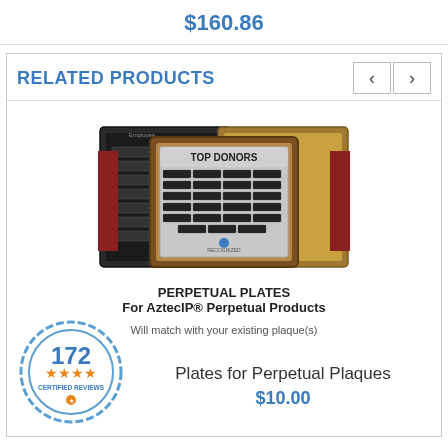$160.86
RELATED PRODUCTS
[Figure (photo): Three perpetual award plaques overlapping, center one titled TOP DONORS with a grid of name plates, flanked by black and wood-framed plaques]
PERPETUAL PLATES
For AztecIP® Perpetual Products
Will match with your existing plaque(s)
Plates for Perpetual Plaques
$10.00
[Figure (illustration): Round certified reviews badge showing 172 and 4 stars with text CERTIFIED REVIEWS]